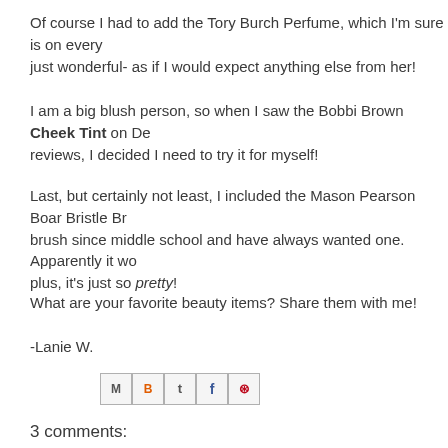Of course I had to add the Tory Burch Perfume, which I'm sure is on every just wonderful- as if I would expect anything else from her!
I am a big blush person, so when I saw the Bobbi Brown Cheek Tint on De reviews, I decided I need to try it for myself!
Last, but certainly not least, I included the Mason Pearson Boar Bristle Br brush since middle school and have always wanted one. Apparently it wo plus, it's just so pretty!
What are your favorite beauty items? Share them with me!
-Lanie W.
[Figure (other): Social share buttons: Email, Blogger, Twitter, Facebook, Pinterest]
3 comments: